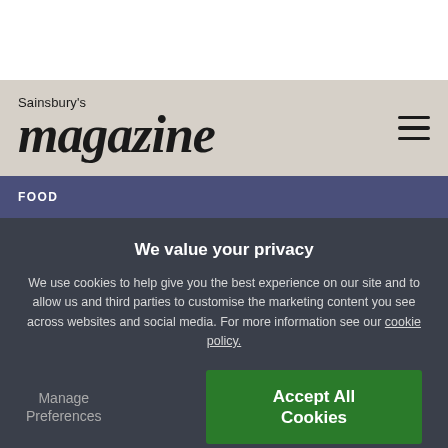Sainsbury's magazine
FOOD
Half-term treat -
We value your privacy
We use cookies to help give you the best experience on our site and to allow us and third parties to customise the marketing content you see across websites and social media. For more information see our cookie policy.
Manage Preferences
Accept All Cookies